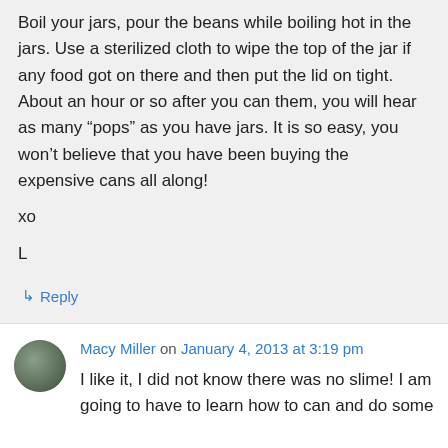Boil your jars, pour the beans while boiling hot in the jars. Use a sterilized cloth to wipe the top of the jar if any food got on there and then put the lid on tight. About an hour or so after you can them, you will hear as many “pops” as you have jars. It is so easy, you won’t believe that you have been buying the expensive cans all along!
xo
L
↳ Reply
Macy Miller on January 4, 2013 at 3:19 pm
I like it, I did not know there was no slime! I am going to have to learn how to can and do some